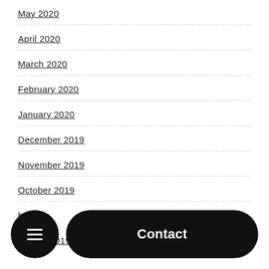May 2020
April 2020
March 2020
February 2020
January 2020
December 2019
November 2019
October 2019
September 2019 (partial)
August 2019